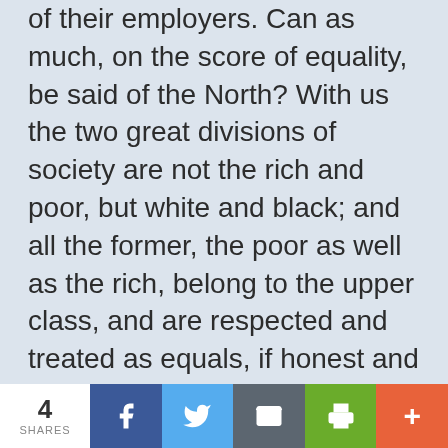of their employers. Can as much, on the score of equality, be said of the North? With us the two great divisions of society are not the rich and poor, but white and black; and all the former, the poor as well as the rich, belong to the upper class, and are respected and treated as equals, if honest and industrious; and hence have a position and pride of character of which neither poverty nor misfortune can deprive them.
But I go further, and hold that justice and the constitution are the easiest and safest
4 SHARES | Facebook | Twitter | Email | Print | More